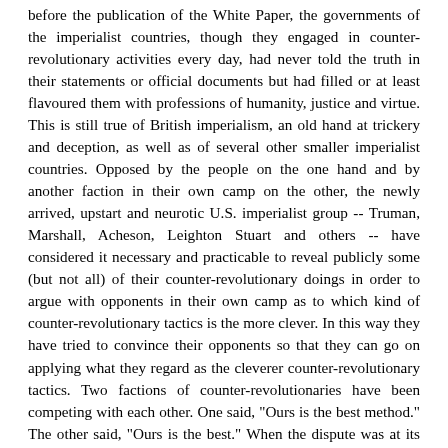before the publication of the White Paper, the governments of the imperialist countries, though they engaged in counter-revolutionary activities every day, had never told the truth in their statements or official documents but had filled or at least flavoured them with professions of humanity, justice and virtue. This is still true of British imperialism, an old hand at trickery and deception, as well as of several other smaller imperialist countries. Opposed by the people on the one hand and by another faction in their own camp on the other, the newly arrived, upstart and neurotic U.S. imperialist group -- Truman, Marshall, Acheson, Leighton Stuart and others -- have considered it necessary and practicable to reveal publicly some (but not all) of their counter-revolutionary doings in order to argue with opponents in their own camp as to which kind of counter-revolutionary tactics is the more clever. In this way they have tried to convince their opponents so that they can go on applying what they regard as the cleverer counter-revolutionary tactics. Two factions of counter-revolutionaries have been competing with each other. One said, "Ours is the best method." The other said, "Ours is the best." When the dispute was at its hottest, one faction suddenly laid its cards on the table and revealed many of its treasured tricks of the past -- and there you have the White Paper.
And so the White Paper has become material for the